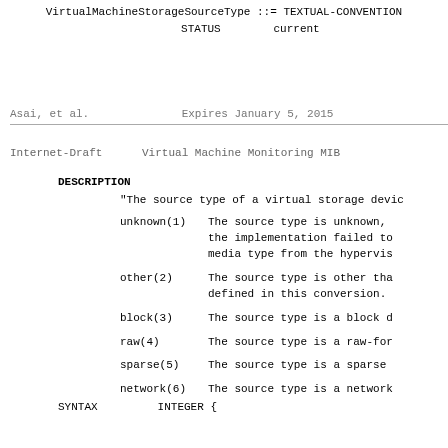VirtualMachineStorageSourceType ::= TEXTUAL-CONVENTION
    STATUS        current
Asai, et al.                Expires January 5, 2015
Internet-Draft      Virtual Machine Monitoring MIB
DESCRIPTION
"The source type of a virtual storage devic
unknown(1)    The source type is unknown, the implementation failed to media type from the hypervis
other(2)      The source type is other tha defined in this conversion.
block(3)      The source type is a block d
raw(4)        The source type is a raw-for
sparse(5)     The source type is a sparse
network(6)    The source type is a network
SYNTAX        INTEGER {